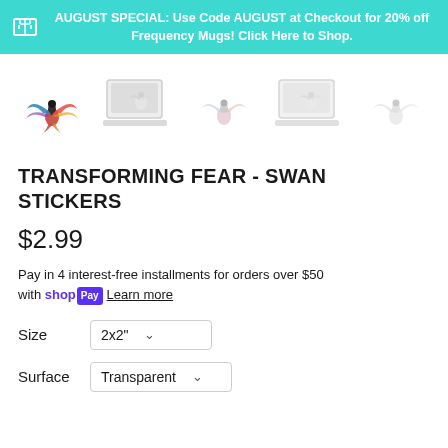AUGUST SPECIAL: Use Code AUGUST at Checkout for 20% off Frequency Mugs! Click Here to Shop.
[Figure (photo): Five product thumbnail images of Transforming Fear Swan Stickers — colorful swan logo, sticker on laptop, sticker alone, sticker on laptop, sticker alone]
TRANSFORMING FEAR - SWAN STICKERS
$2.99
Pay in 4 interest-free installments for orders over $50 with shop Pay  Learn more
Size  2x2"
Surface  Transparent